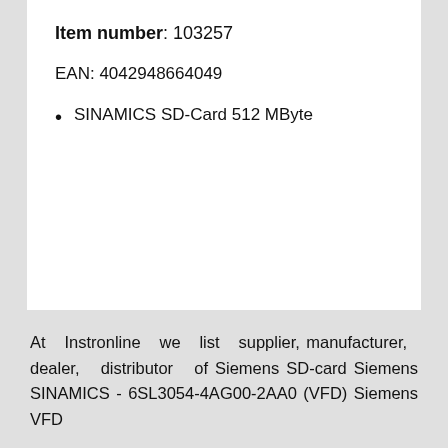Item number: 103257
EAN: 4042948664049
SINAMICS SD-Card 512 MByte
At Instronline we list supplier, manufacturer, dealer, distributor of Siemens SD-card Siemens SINAMICS - 6SL3054-4AG00-2AA0 (VFD) Siemens VFD
We cater globally including Afghanistan, Albania, Algeria,